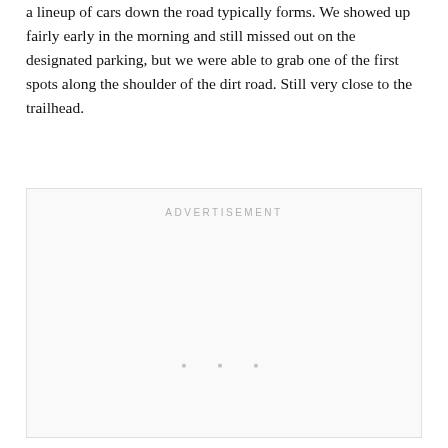a lineup of cars down the road typically forms. We showed up fairly early in the morning and still missed out on the designated parking, but we were able to grab one of the first spots along the shoulder of the dirt road. Still very close to the trailhead.
[Figure (other): Advertisement placeholder box with 'ADVERTISEMENT' label and three dots in the center-bottom area]